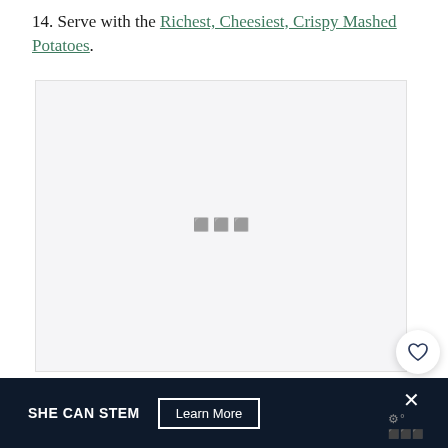14. Serve with the Richest, Cheesiest, Crispy Mashed Potatoes.
[Figure (photo): Large image placeholder area with light gray background, showing a faint watermark/ghost image. Two circular buttons overlay the bottom-right: a white heart button and a dark navy search/magnify button.]
SHE CAN STEM  Learn More  ×